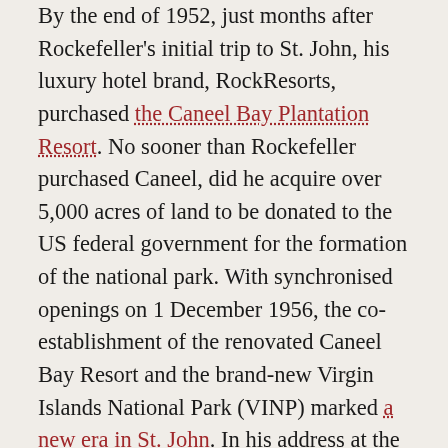By the end of 1952, just months after Rockefeller's initial trip to St. John, his luxury hotel brand, RockResorts, purchased the Caneel Bay Plantation Resort. No sooner than Rockefeller purchased Caneel, did he acquire over 5,000 acres of land to be donated to the US federal government for the formation of the national park. With synchronised openings on 1 December 1956, the co-establishment of the renovated Caneel Bay Resort and the brand-new Virgin Islands National Park (VINP) marked a new era in St. John. In his address at the park's dedication ceremony, Rockefeller described what this new era would look like: 'Indeed, the travel and recreation potential of the Virgin Islands—their foremost industry—will mean continued economic growth in the years ahead, and this means new opportunities for everyone.' The transition appeared simple: the once agrarian-based community would now become a